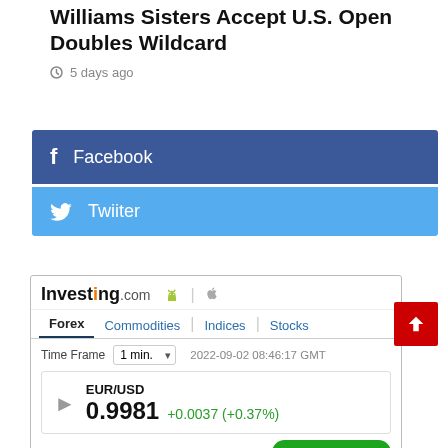Williams Sisters Accept U.S. Open Doubles Wildcard
5 days ago
[Figure (other): Facebook share button (blue background with 'f' icon and 'Facebook' label)]
[Figure (other): Twitter share button (light blue background with bird icon and 'Twiiter' label)]
[Figure (screenshot): Investing.com widget showing EUR/USD Forex data. Time Frame: 1 min. Timestamp: 2022-09-02 08:46:17 GMT. Rate: 0.9981 +0.0037 (+0.37%). Summary: STRONG BUY. Moving Averages: Buy (8), Sell (4).]